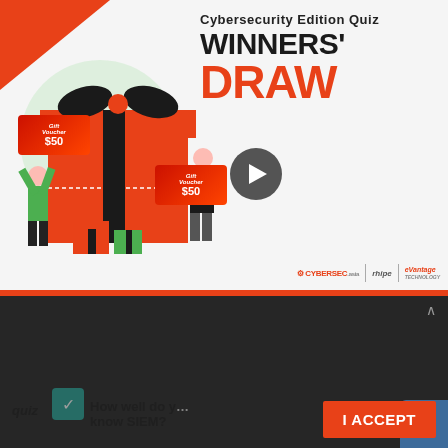[Figure (illustration): Cybersecurity Edition Quiz Winners' Draw promotional banner with large gift boxes, two people holding $50 gift vouchers, and logos for CYBERSEC.asia, rhipe, and eVantage Technology. A play button overlay is in the center.]
PARTICIPATE NOW
Our website uses cookies to provide you with personalized content and for site analysis. If you continue to use the site without choosing your preference, we'll assume that you're fine with cookies.
I ACCEPT
[Figure (screenshot): Partially visible quiz thumbnail at bottom showing text 'How well do you know SIEM?' with a checkmark icon and the word 'quiz']